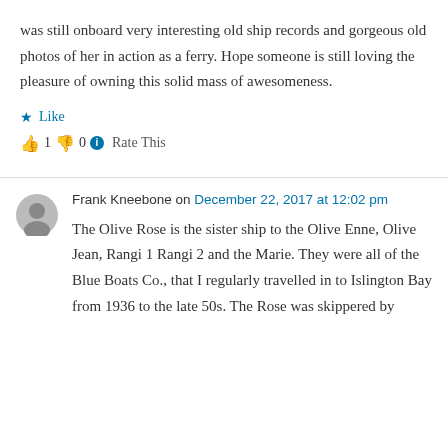was still onboard very interesting old ship records and gorgeous old photos of her in action as a ferry. Hope someone is still loving the pleasure of owning this solid mass of awesomeness.
★ Like
👍 1 👎 0 ℹ Rate This
Frank Kneebone on December 22, 2017 at 12:02 pm
The Olive Rose is the sister ship to the Olive Enne, Olive Jean, Rangi 1 Rangi 2 and the Marie. They were all of the Blue Boats Co., that I regularly travelled in to Islington Bay from 1936 to the late 50s. The Rose was skippered by